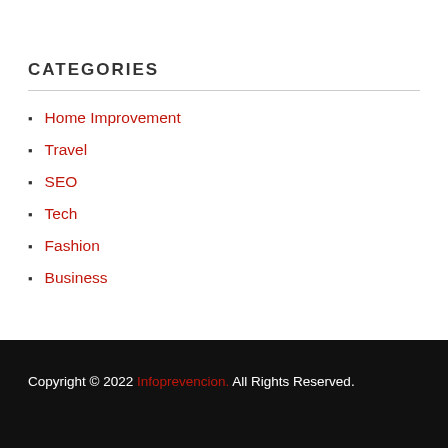CATEGORIES
Home Improvement
Travel
SEO
Tech
Fashion
Business
Copyright © 2022 Infoprevencion. All Rights Reserved.